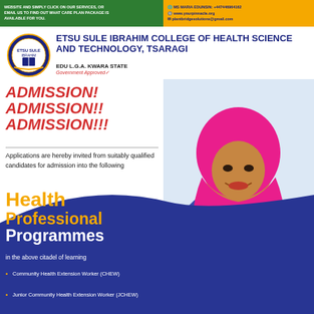WEBSITE AND SIMPLY CLICK ON OUR SERVICES, OR EMAIL US TO FIND OUT WHAT CARE PLAN PACKAGE IS AVAILABLE FOR YOU.
MS MARIA EDUNSIN: +447446964162 | www.yourpinnacle.org | plantbridgesolutions@gmail.com
[Figure (logo): Etsu Sule Ibrahim College of Health Science and Technology circular logo/seal]
ETSU SULE IBRAHIM COLLEGE OF HEALTH SCIENCE AND TECHNOLOGY, TSARAGI
EDU L.G.A. KWARA STATE
Government Approved✓
ADMISSION! ADMISSION!! ADMISSION!!!
Applications are hereby invited from suitably qualified candidates for admission into the following
[Figure (photo): Female nurse/health worker wearing pink hijab and blue scrubs with stethoscope, smiling]
Health Professional Programmes
in the above citadel of learning
Community Health Extension Worker (CHEW)
Junior Community Health Extension Worker (JCHEW)